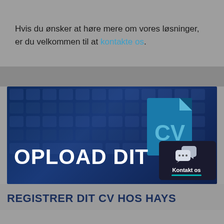Hvis du ønsker at høre mere om vores løsninger, er du velkommen til at kontakte os.
[Figure (infographic): Banner image with dark blue background showing keyboard keys pattern, large white bold text 'OPLOAD DIT CV', a cyan/teal document icon on the right, and a chat widget in the bottom right corner labeled 'Kontakt os']
REGISTRER DIT CV HOS HAYS